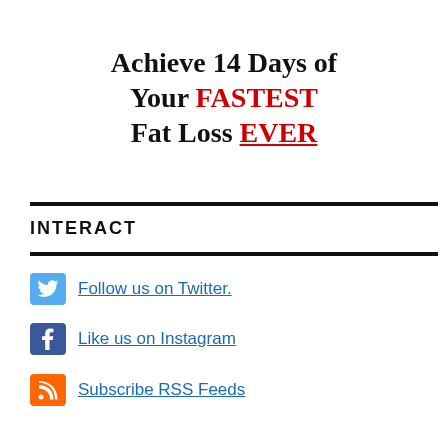[Figure (illustration): Handwritten-style title text reading 'Achieve 14 Days of Your FASTEST Fat Loss EVER' with FASTEST and EVER in red and EVER underlined]
INTERACT
Follow us on Twitter.
Like us on Instagram
Subscribe RSS Feeds